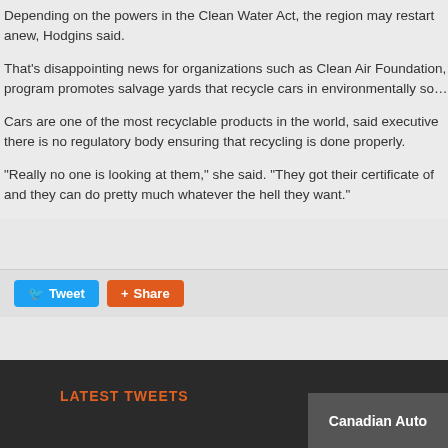Depending on the powers in the Clean Water Act, the region may restart anew, Hodgins said.
That's disappointing news for organizations such as Clean Air Foundation, program promotes salvage yards that recycle cars in environmentally so...
Cars are one of the most recyclable products in the world, said executive there is no regulatory body ensuring that recycling is done properly.
“Really no one is looking at them,” she said. “They got their certificate of and they can do pretty much whatever the hell they want.”
[Figure (infographic): Social sharing buttons: Tweet (blue Twitter button) and Share (orange share button)]
LATEST TWEETS
Canadian Auto